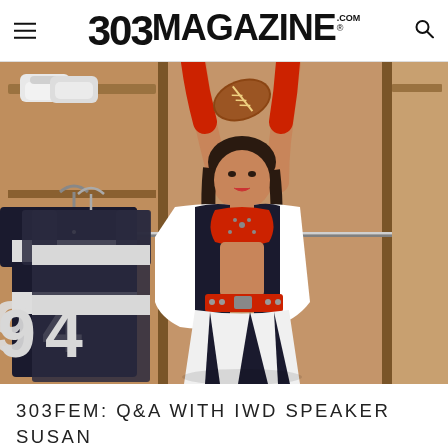303MAGAZINE.COM
[Figure (photo): A woman in a Denver Broncos cheerleader outfit posing in a locker room, holding a football above her head with both arms raised. Football jerseys with number 94 hang in the background, along with cleats on a shelf.]
303FEM: Q&A WITH IWD SPEAKER SUSAN MANUELLO